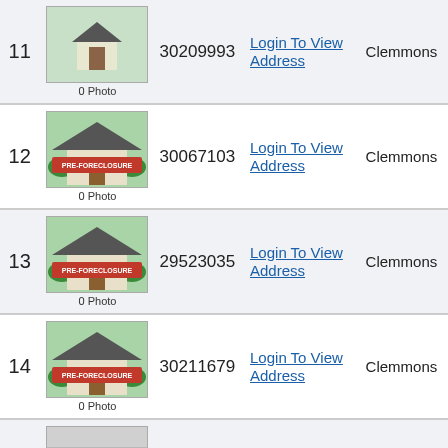| # | Photo | ID | Address | City |
| --- | --- | --- | --- | --- |
| 11 | Elm Hill Dr / 0 Photo | 30209993 | Login To View Address | Clemmons |
| 12 | 0 Photo | 30067103 | Login To View Address | Clemmons |
| 13 | 0 Photo | 29523035 | Login To View Address | Clemmons |
| 14 | 0 Photo | 30211679 | Login To View Address | Clemmons |
| 15 | 13 Photos | 28947735 | Login To View Address | Clemmons |
| 16 | 11 Photos | 29763919 | Login To View Address | Clemmons |
| 17 | Photo | 29438795 | Login To View Address | Clemmons |